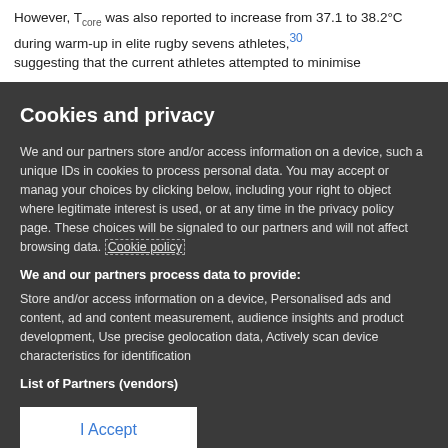However, T core was also reported to increase from 37.1 to 38.2°C during warm-up in elite rugby sevens athletes,30 suggesting that the current athletes attempted to minimise
Cookies and privacy
We and our partners store and/or access information on a device, such as unique IDs in cookies to process personal data. You may accept or manage your choices by clicking below, including your right to object where legitimate interest is used, or at any time in the privacy policy page. These choices will be signaled to our partners and will not affect browsing data. Cookie policy
We and our partners process data to provide:
Store and/or access information on a device, Personalised ads and content, ad and content measurement, audience insights and product development, Use precise geolocation data, Actively scan device characteristics for identification
List of Partners (vendors)
I Accept